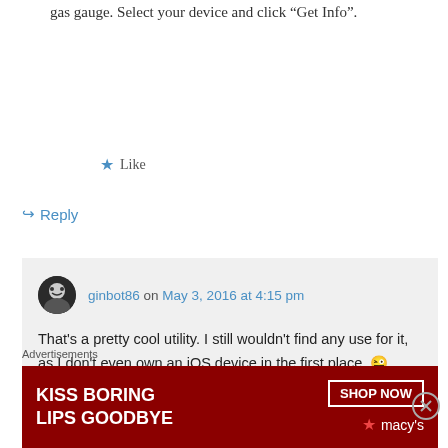gas gauge. Select your device and click “Get Info”.
★ Like
↪ Reply
ginbot86 on May 3, 2016 at 4:15 pm
That’s a pretty cool utility. I still wouldn’t find any use for it, as I don’t even own an iOS device in the first place. 😜
Besides, the scope is completely different.
Advertisements
[Figure (photo): Macy’s advertisement banner showing a woman with bold red lipstick, text reading KISS BORING LIPS GOODBYE with SHOP NOW button and Macy’s star logo on dark red background.]